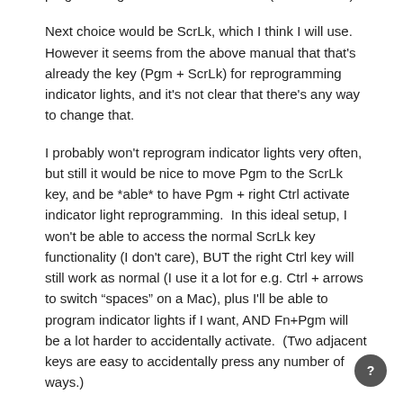programming mode instead of mute.  (Undesirable.)
Next choice would be ScrLk, which I think I will use.  However it seems from the above manual that that's already the key (Pgm + ScrLk) for reprogramming indicator lights, and it's not clear that there's any way to change that.
I probably won't reprogram indicator lights very often, but still it would be nice to move Pgm to the ScrLk key, and be *able* to have Pgm + right Ctrl activate indicator light reprogramming.  In this ideal setup, I won't be able to access the normal ScrLk key functionality (I don't care), BUT the right Ctrl key will still work as normal (I use it a lot for e.g. Ctrl + arrows to switch "spaces" on a Mac), plus I'll be able to program indicator lights if I want, AND Fn+Pgm will be a lot harder to accidentally activate.  (Two adjacent keys are easy to accidentally press any number of ways.)